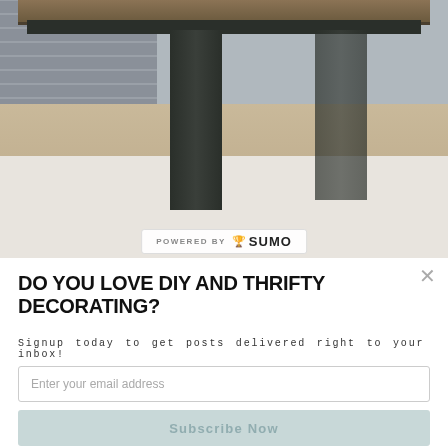[Figure (photo): Close-up photo of a dark painted wooden coffee table with a wood-tone top, set against a grey brick/stone wall, with a white patterned rug on a wood floor beneath. A woven basket is visible on the table surface. Powered by SUMO watermark visible.]
POWERED BY 🏆 SUMO
DO YOU LOVE DIY AND THRIFTY DECORATING?
Signup today to get posts delivered right to your inbox!
Enter your email address
Subscribe Now